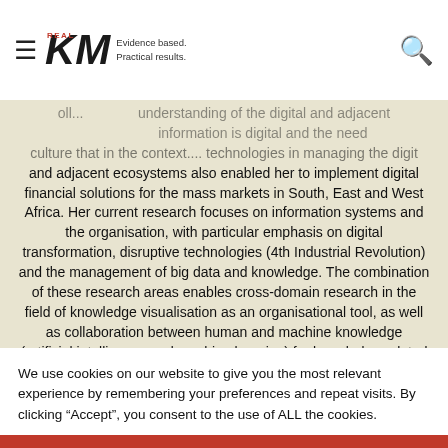REAL KM — Evidence based. Practical results.
and adjacent ecosystems also enabled her to implement digital financial solutions for the mass markets in South, East and West Africa. Her current research focuses on information systems and the organisation, with particular emphasis on digital transformation, disruptive technologies (4th Industrial Revolution) and the management of big data and knowledge. The combination of these research areas enables cross-domain research in the field of knowledge visualisation as an organisational tool, as well as collaboration between human and machine knowledge (artificial intelligence and machine learning) for knowledge-related work. Dr Smuts has published several papers and
We use cookies on our website to give you the most relevant experience by remembering your preferences and repeat visits. By clicking “Accept”, you consent to the use of ALL the cookies.